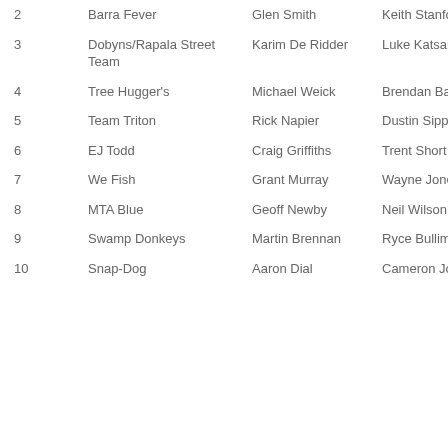| # | Team | Angler 1 | Angler 2 |
| --- | --- | --- | --- |
| 2 | Barra Fever | Glen Smith | Keith Stanford |
| 3 | Dobyns/Rapala Street Team | Karim De Ridder | Luke Katsaros |
| 4 | Tree Hugger's | Michael Weick | Brendan Barnet |
| 5 | Team Triton | Rick Napier | Dustin Sippel |
| 6 | EJ Todd | Craig Griffiths | Trent Short |
| 7 | We Fish | Grant Murray | Wayne Jones |
| 8 | MTA Blue | Geoff Newby | Neil Wilson |
| 9 | Swamp Donkeys | Martin Brennan | Ryce Bullimore |
| 10 | Snap-Dog | Aaron Dial | Cameron Johnson |